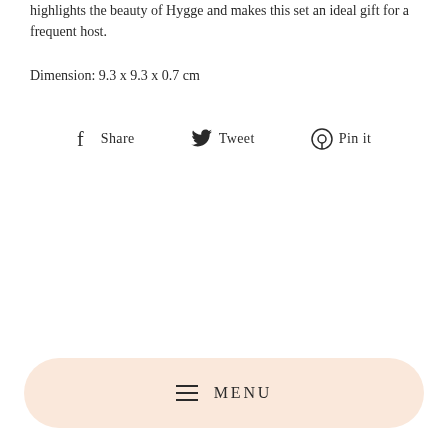highlights the beauty of Hygge and makes this set an ideal gift for a frequent host.
Dimension: 9.3 x 9.3 x 0.7 cm
Share   Tweet   Pin it
[Figure (other): Navigation menu button with hamburger icon (three horizontal lines) and MENU text on a peach/salmon rounded pill-shaped background]